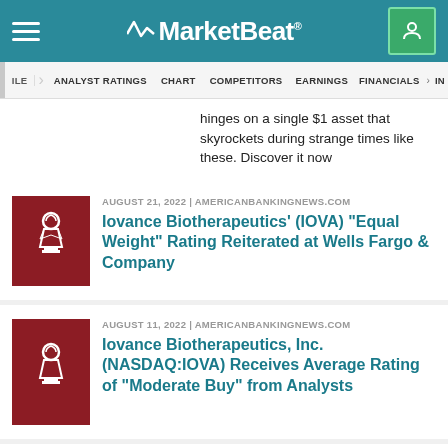MarketBeat
ILE   ANALYST RATINGS   CHART   COMPETITORS   EARNINGS   FINANCIALS > IN
hinges on a single $1 asset that skyrockets during strange times like these.  Discover it now
AUGUST 21, 2022 | AMERICANBANKINGNEWS.COM — Iovance Biotherapeutics' (IOVA) "Equal Weight" Rating Reiterated at Wells Fargo & Company
AUGUST 11, 2022 | AMERICANBANKINGNEWS.COM — Iovance Biotherapeutics, Inc. (NASDAQ:IOVA) Receives Average Rating of "Moderate Buy" from Analysts
AUGUST 8, 2022 | AMERICANBANKINGNEWS.COM — Iovance Biotherapeutics (NASDAQ:IOVA) PT Lowered to $25.00